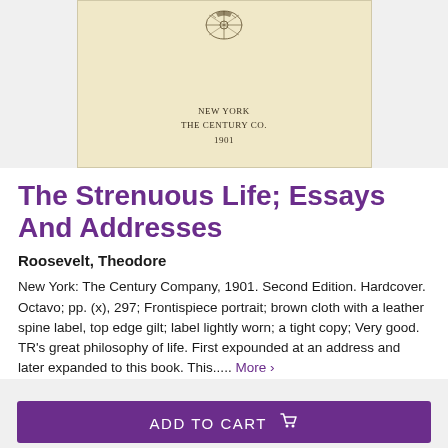[Figure (photo): Title page of a book showing a decorative emblem at top, and publisher information: NEW YORK / THE CENTURY CO. / 1901, on aged cream/beige paper]
The Strenuous Life; Essays And Addresses
Roosevelt, Theodore
New York: The Century Company, 1901. Second Edition. Hardcover. Octavo; pp. (x), 297; Frontispiece portrait; brown cloth with a leather spine label, top edge gilt; label lightly worn; a tight copy; Very good. TR's great philosophy of life. First expounded at an address and later expanded to this book. This..... More ›
ADD TO CART